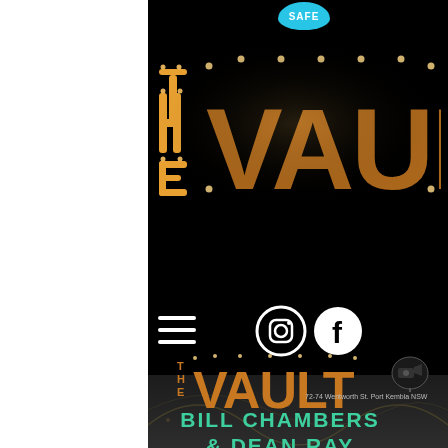[Figure (logo): SAFE badge - teal oval badge with white text SAFE]
[Figure (logo): THE VAULT marquee light-bulb style logo on black background - large decorative letters with warm golden bulb lights]
[Figure (logo): Hamburger menu icon (three horizontal white lines) and Instagram and Facebook social media icons with white circle backgrounds]
[Figure (logo): THE VAULT smaller marquee logo with camera/CCTV icon]
72-74 Wentworth St. Port Kembla NSW
BILL CHAMBERS & DEAN RAY